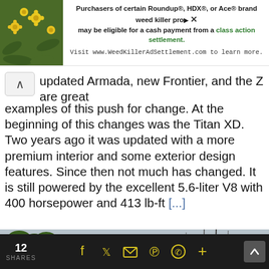[Figure (other): Advertisement banner: yellow flowers image on left, text about Roundup weed killer class action settlement on right]
updated Armada, new Frontier, and the Z are great examples of this push for change. At the beginning of this changes was the Titan XD. Two years ago it was updated with a more premium interior and some exterior design features. Since then not much has changed. It is still powered by the excellent 5.6-liter V8 with 400 horsepower and 413 lb-ft [...]
[Figure (photo): Blue SUV parked near a marina with palm trees and sailboat masts in the background, overcast sky]
12 SHARES  [social icons: Facebook, Twitter, Email, Pinterest, WhatsApp, Plus]